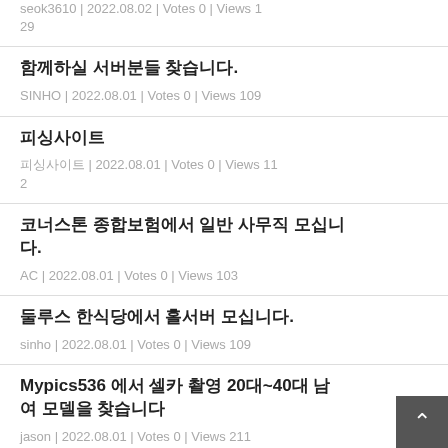seok3610 | 2022.08.02 | Votes 0 | Views 129
함께하실 서버분들 찾습니다.
SINHO | 2022.08.01 | Votes 0 | Views 109
피싱사이트
피싱사이트 | 2022.08.01 | Votes 0 | Views 112
코너스톤 종합보험에서 일반 사무직 모십니다.
AC | 2022.08.01 | Votes 0 | Views 103
둘루스 한식당에서 홀서버 모십니다.
sinho | 2022.08.01 | Votes 0 | Views 109
Mypics536 에서 셀카 촬영 20대~40대 남여 모델을 찾습니다
jason | 2022.08.01 | Votes 0 | Views 211